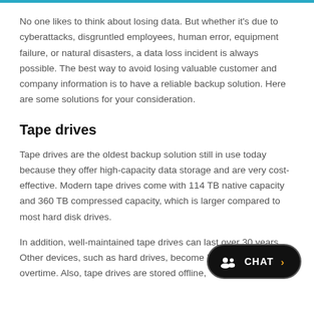No one likes to think about losing data. But whether it's due to cyberattacks, disgruntled employees, human error, equipment failure, or natural disasters, a data loss incident is always possible. The best way to avoid losing valuable customer and company information is to have a reliable backup solution. Here are some solutions for your consideration.
Tape drives
Tape drives are the oldest backup solution still in use today because they offer high-capacity data storage and are very cost-effective. Modern tape drives come with 114 TB native capacity and 360 TB compressed capacity, which is larger compared to most hard disk drives.
In addition, well-maintained tape drives can last over 30 years. Other devices, such as hard drives, become less reliable overtime. Also, tape drives are stored offline, which means they'll be safe should a cyberattack...